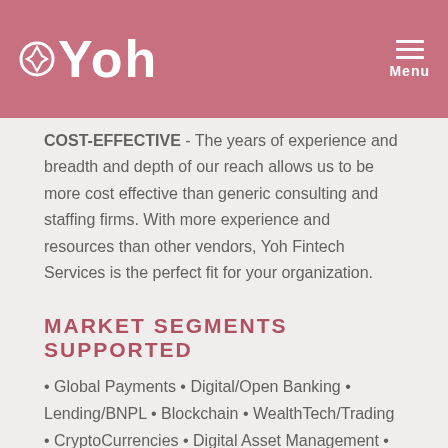Yoh | Menu
COST-EFFECTIVE - The years of experience and breadth and depth of our reach allows us to be more cost effective than generic consulting and staffing firms. With more experience and resources than other vendors, Yoh Fintech Services is the perfect fit for your organization.
MARKET SEGMENTS SUPPORTED
• Global Payments • Digital/Open Banking • Lending/BNPL • Blockchain • WealthTech/Trading • CryptoCurrencies • Digital Asset Management • InvestTech • InsurTech • RegTech